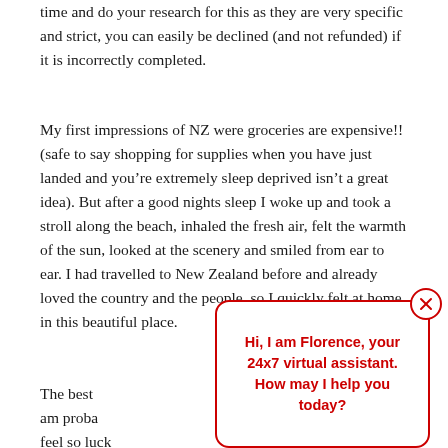time and do your research for this as they are very specific and strict, you can easily be declined (and not refunded) if it is incorrectly completed.
My first impressions of NZ were groceries are expensive!! (safe to say shopping for supplies when you have just landed and you’re extremely sleep deprived isn’t a great idea). But after a good nights sleep I woke up and took a stroll along the beach, inhaled the fresh air, felt the warmth of the sun, looked at the scenery and smiled from ear to ear. I had travelled to New Zealand before and already loved the country and the people, so I quickly felt at home in this beautiful place.
The best [...]  am proba[...] feel so luck[...]
[Figure (other): Chat popup overlay from virtual assistant named Florence. Red border rounded rectangle with text: Hi, I am Florence, your 24x7 virtual assistant. How may I help you today? With a close (X) button in top right.]